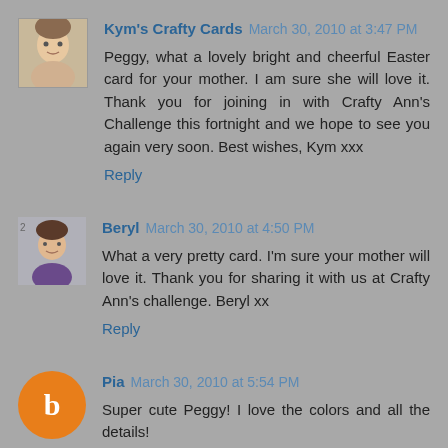Kym's Crafty Cards March 30, 2010 at 3:47 PM
Peggy, what a lovely bright and cheerful Easter card for your mother. I am sure she will love it. Thank you for joining in with Crafty Ann's Challenge this fortnight and we hope to see you again very soon. Best wishes, Kym xxx
Reply
Beryl March 30, 2010 at 4:50 PM
What a very pretty card. I'm sure your mother will love it. Thank you for sharing it with us at Crafty Ann's challenge. Beryl xx
Reply
Pia March 30, 2010 at 5:54 PM
Super cute Peggy! I love the colors and all the details!
Reply